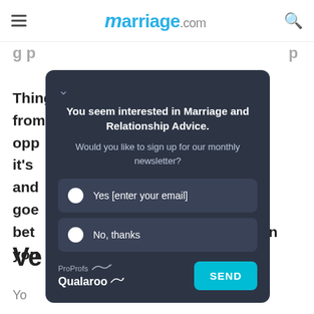marriage.com
Things that go wrong are not always from the opp... netimes it's ... re fear and ... n what goe... e to bet... ceed in you...
[Figure (screenshot): A popup modal overlay with dark background (color #2d3545) containing: a chevron/down-arrow icon, heading 'You seem interested in Marriage and Relationship Advice.', subtext 'Would you like to sign up for our monthly newsletter?', two radio button options: 'Yes [enter your email]' and 'No, thanks', and a footer with ProProfs Qualaroo branding on the left and a teal SEND button on the right.]
Ve
Yo